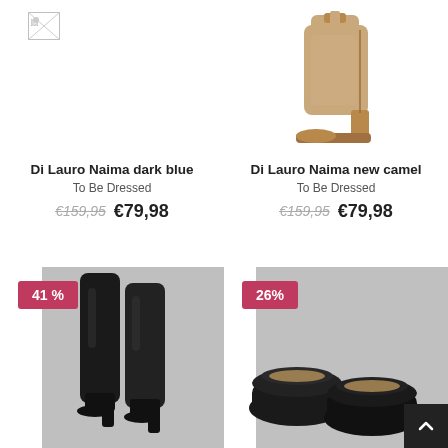[Figure (photo): Broken image placeholder for Di Lauro Naima dark blue shoe (top left)]
[Figure (photo): Di Lauro Naima new camel ankle boot on white background (top right)]
Di Lauro Naima dark blue
To Be Dressed
€159,95  €79,98
Di Lauro Naima new camel
To Be Dressed
€159,95  €79,98
[Figure (photo): Black knee-high boots on grey background with 41% discount badge (bottom left)]
[Figure (photo): Black flat loafers on grey background with 26% discount badge (bottom right)]